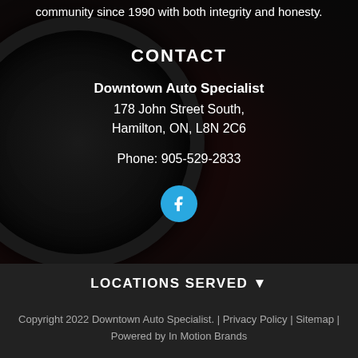community since 1990 with both integrity and honesty.
CONTACT
Downtown Auto Specialist
178 John Street South,
Hamilton, ON, L8N 2C6

Phone: 905-529-2833
[Figure (logo): Facebook social media icon button, round cyan/blue circle with white 'f' letter]
LOCATIONS SERVED ▾
Copyright 2022 Downtown Auto Specialist. | Privacy Policy | Sitemap | Powered by In Motion Brands